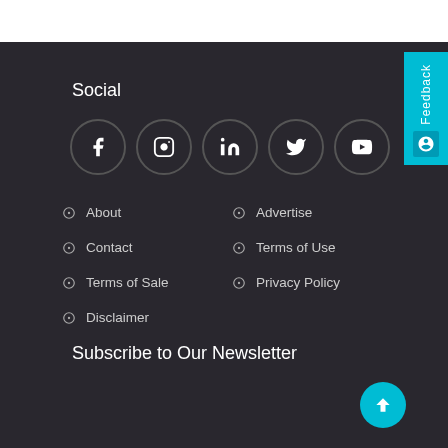Social
[Figure (illustration): Five social media icon circles: Facebook, Instagram, LinkedIn, Twitter, YouTube]
About
Contact
Terms of Sale
Disclaimer
Advertise
Terms of Use
Privacy Policy
Subscribe to Our Newsletter